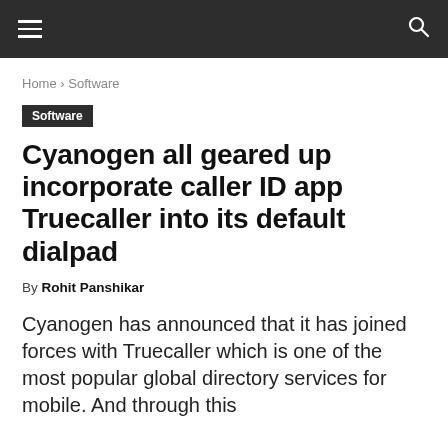≡  🔍
Home › Software
Software
Cyanogen all geared up incorporate caller ID app Truecaller into its default dialpad
By Rohit Panshikar
Cyanogen has announced that it has joined forces with Truecaller which is one of the most popular global directory services for mobile. And through this